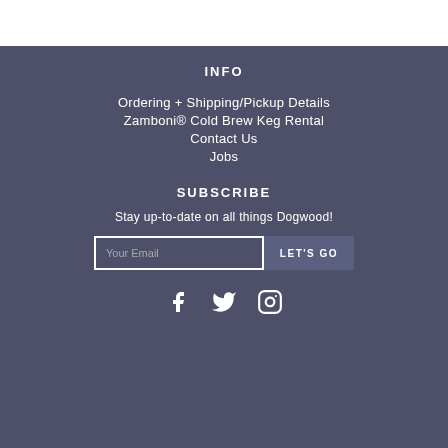INFO
Ordering + Shipping/Pickup Details
Zamboni® Cold Brew Keg Rental
Contact Us
Jobs
SUBSCRIBE
Stay up-to-date on all things Dogwood!
[Figure (other): Email subscription form with 'Your Email' input field and 'LET'S GO' button]
[Figure (other): Social media icons: Facebook, Twitter, Instagram]